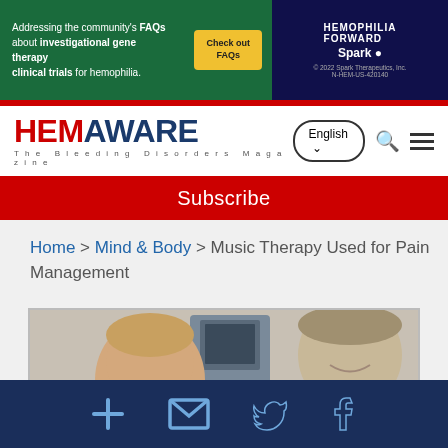[Figure (screenshot): Advertisement banner for Hemophilia FORWARD by Spark Therapeutics about FAQs on investigational gene therapy clinical trials for hemophilia]
[Figure (logo): HemAware - The Bleeding Disorders Magazine logo in red and navy blue]
Subscribe
Home > Mind & Body > Music Therapy Used for Pain Management
[Figure (photo): Photo of a young boy in a hospital setting with an adult smiling nearby]
[Figure (infographic): Social sharing bar with icons for share, email, Twitter, and Facebook]